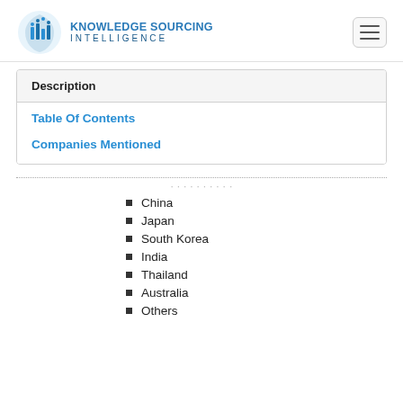KNOWLEDGE SOURCING INTELLIGENCE
Description
Table Of Contents
Companies Mentioned
China
Japan
South Korea
India
Thailand
Australia
Others